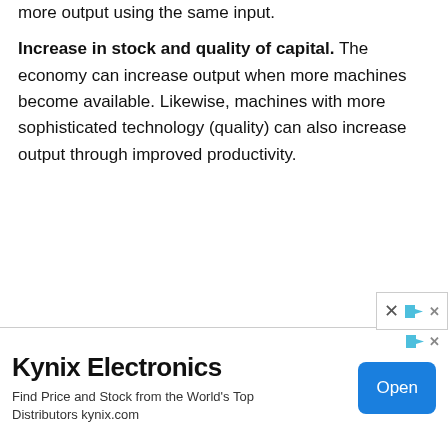more output using the same input.
Increase in stock and quality of capital. The economy can increase output when more machines become available. Likewise, machines with more sophisticated technology (quality) can also increase output through improved productivity.
[Figure (other): Advertisement banner for Kynix Electronics with brand name, tagline 'Find Price and Stock from the World's Top Distributors kynix.com', and an Open button. Has a close (X) button and ad attribution icons.]